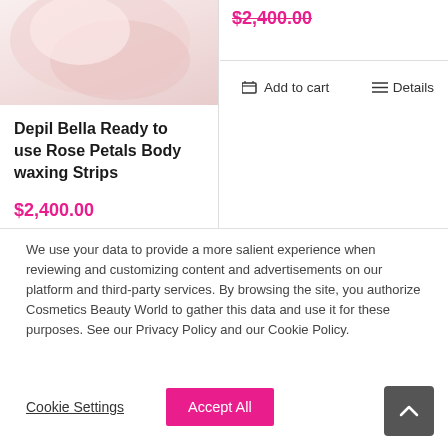[Figure (photo): Product image thumbnail of Depil Bella Rose Petals Body Waxing Strips, partially cropped at top]
Depil Bella Ready to use Rose Petals Body waxing Strips
$2,400.00
$2,400.00 (strikethrough, partially visible)
Add to cart
Details
We use your data to provide a more salient experience when reviewing and customizing content and advertisements on our platform and third-party services. By browsing the site, you authorize Cosmetics Beauty World to gather this data and use it for these purposes. See our Privacy Policy and our Cookie Policy.
Cookie Settings
Accept All